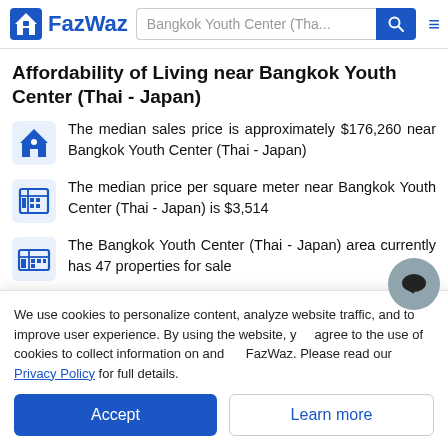FazWaz — Bangkok Youth Center (Tha... [search bar] [menu]
Affordability of Living near Bangkok Youth Center (Thai - Japan)
The median sales price is approximately $176,260 near Bangkok Youth Center (Thai - Japan)
The median price per square meter near Bangkok Youth Center (Thai - Japan) is $3,514
The Bangkok Youth Center (Thai - Japan) area currently has 47 properties for sale
We use cookies to personalize content, analyze website traffic, and to improve user experience. By using the website, you agree to the use of cookies to collect information on and off FazWaz. Please read our Privacy Policy for full details.
Accept | Learn more